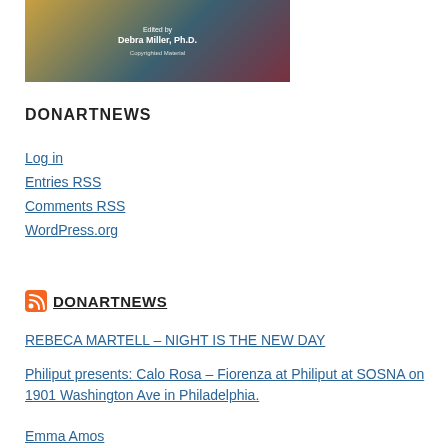[Figure (illustration): Book cover image with teal, gold, and dark red colors, text 'Edited by Debra Miller, Ph.D.' and 'Copyrighted Material']
DONARTNEWS
Log in
Entries RSS
Comments RSS
WordPress.org
DONARTNEWS
REBECA MARTELL – NIGHT IS THE NEW DAY
Philiput presents: Calo Rosa – Fiorenza at Philiput at SOSNA on 1901 Washington Ave in Philadelphia.
Emma Amos